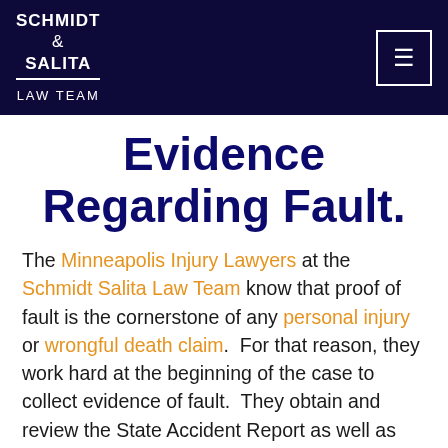SCHMIDT & SALITA LAW TEAM
Evidence Regarding Fault.
The Minneapolis Injury Lawyers at the Schmidt Salita Law Team know that proof of fault is the cornerstone of any personal injury or wrongful death claim.  For that reason, they work hard at the beginning of the case to collect evidence of fault.  They obtain and review the State Accident Report as well as any investigation reports and audio-video (dash camera or body camera) from law enforcement.  They get statements from witnesses when appropriate.  They collect photos of the